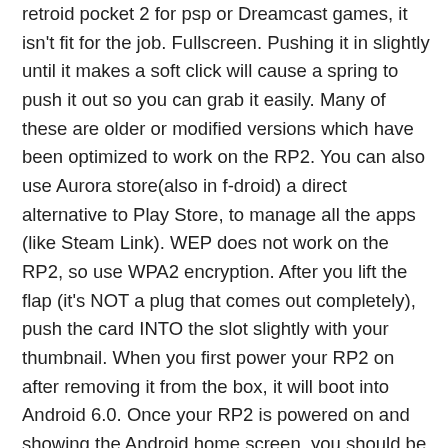retroid pocket 2 for psp or Dreamcast games, it isn't fit for the job. Fullscreen. Pushing it in slightly until it makes a soft click will cause a spring to push it out so you can grab it easily. Many of these are older or modified versions which have been optimized to work on the RP2. You can also use Aurora store(also in f-droid) a direct alternative to Play Store, to manage all the apps (like Steam Link). WEP does not work on the RP2, so use WPA2 encryption. After you lift the flap (it's NOT a plug that comes out completely), push the card INTO the slot slightly with your thumbnail. When you first power your RP2 on after removing it from the box, it will boot into Android 6.0. Once your RP2 is powered on and showing the Android home screen, you should be able to connect your device to your Wi-Fi network through your system settings. Free delivery and returns on eligible orders of £20 or more. on this point and apps will show up. Enjoy! What falls short for me is the performance. The version with the Space Invaders icon